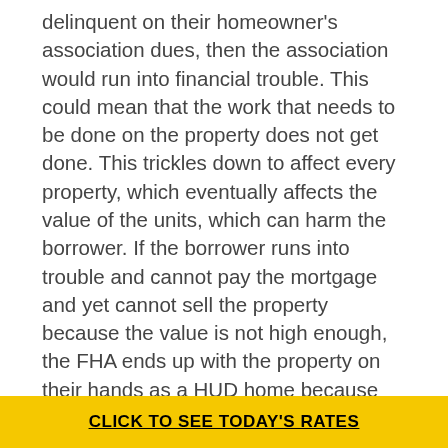delinquent on their homeowner's association dues, then the association would run into financial trouble. This could mean that the work that needs to be done on the property does not get done. This trickles down to affect every property, which eventually affects the value of the units, which can harm the borrower. If the borrower runs into trouble and cannot pay the mortgage and yet cannot sell the property because the value is not high enough, the FHA ends up with the property on their hands as a HUD home because you foreclosed on it.
The requirements might seem strict, but they can go through the HUD approval process fairly quickly. Typically, they do not take more than 30 days to complete and in some cases, can be done in as little as 2 weeks. The length of time depends on the amount of information they have provided to the HUD and how...
CLICK TO SEE TODAY'S RATES